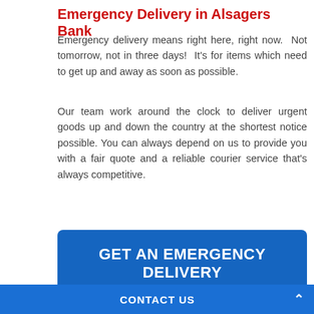Emergency Delivery in Alsagers Bank
Emergency delivery means right here, right now. Not tomorrow, not in three days! It's for items which need to get up and away as soon as possible.
Our team work around the clock to deliver urgent goods up and down the country at the shortest notice possible. You can always depend on us to provide you with a fair quote and a reliable courier service that's always competitive.
[Figure (other): Blue button with white bold text: GET AN EMERGENCY DELIVERY]
Our logistics experts and talented drivers work with a wide range of clients in many different industries. If your line of work is in need of an emergency courier in Alsagers Bank ST7 8 sooner rather than later, we'll always be very happy to help!
CONTACT US